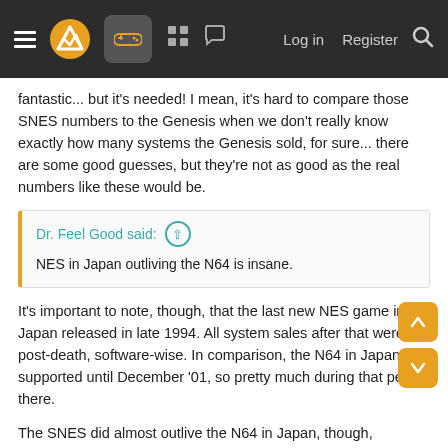Navigation bar with menu, logo, controller icon, grid icon, chat icon, Log in, Register, Search
fantastic... but it's needed! I mean, it's hard to compare those SNES numbers to the Genesis when we don't really know exactly how many systems the Genesis sold, for sure... there are some good guesses, but they're not as good as the real numbers like these would be.
Dr. Feel Good said: ↑
NES in Japan outliving the N64 is insane.
It's important to note, though, that the last new NES game in Japan released in late 1994. All system sales after that were post-death, software-wise. In comparison, the N64 in Japan was supported until December '01, so pretty much during that period there.
The SNES did almost outlive the N64 in Japan, though, software-wise... the last new SNES game in Japan (first-party, too!) was in late '00 I believe.